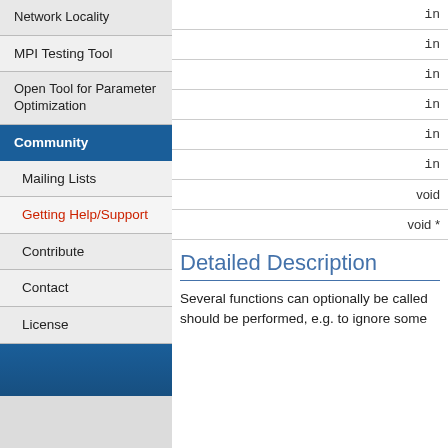Network Locality
MPI Testing Tool
Open Tool for Parameter Optimization
Community
Mailing Lists
Getting Help/Support
Contribute
Contact
License
| in |
| in |
| in |
| in |
| in |
| in |
| void |
| void * |
Detailed Description
Several functions can optionally be called should be performed, e.g. to ignore some